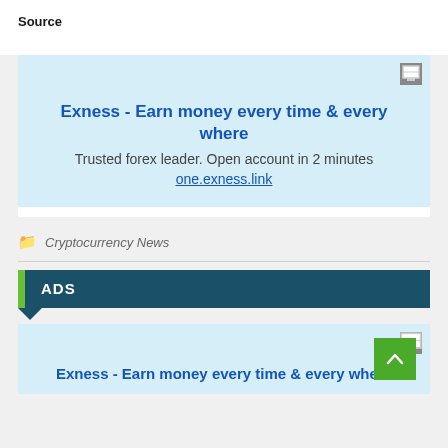Source
[Figure (other): Advertisement box with light blue background. Headline: 'Exness - Earn money every time & every where'. Subtext: 'Trusted forex leader. Open account in 2 minutes'. Link: 'one.exness.link']
Cryptocurrency News
ADS
[Figure (other): Second advertisement box with light blue background. Partial headline: 'Exness - Earn money every time & every where'. Green scroll-to-top button visible.]